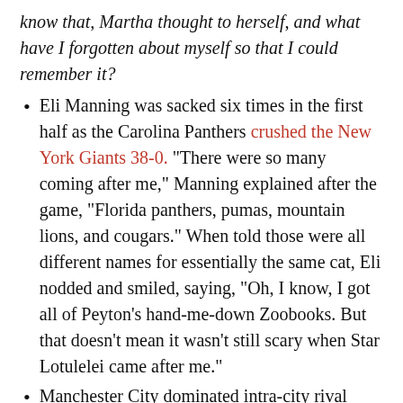know that, Martha thought to herself, and what have I forgotten about myself so that I could remember it?
Eli Manning was sacked six times in the first half as the Carolina Panthers crushed the New York Giants 38-0. "There were so many coming after me," Manning explained after the game, "Florida panthers, pumas, mountain lions, and cougars." When told those were all different names for essentially the same cat, Eli nodded and smiled, saying, "Oh, I know, I got all of Peyton's hand-me-down Zoobooks. But that doesn't mean it wasn't still scary when Star Lotulelei came after me."
Manchester City dominated intra-city rival Manchester United, running away with a 4-1 win over the defending Premier League champions. "Thank god everyone in this city is so laid-back and willing to be patient with me," new United manager David Moyes said after the defeat, from inside the safety of a Popemobile as bottles rained